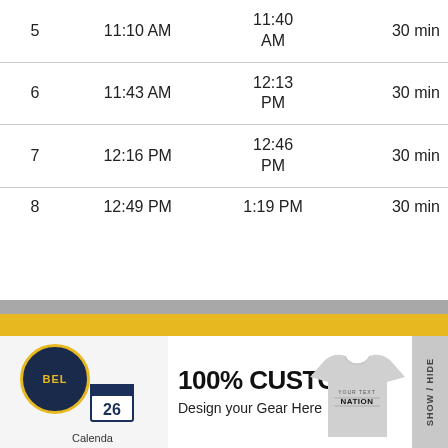| # | Start | End | Duration |
| --- | --- | --- | --- |
| 5 | 11:10 AM | 11:40 AM | 30 min |
| 6 | 11:43 AM | 12:13 PM | 30 min |
| 7 | 12:16 PM | 12:46 PM | 30 min |
| 8 | 12:49 PM | 1:19 PM | 30 min |
[Figure (screenshot): Advertisement banner: '100% CUSTOM - Design your Gear Here GO' with a t-shirt image showing 'NATION' text, BEL logo, calendar icon labeled 'Calendar', and SHOW/HIDE tab.]